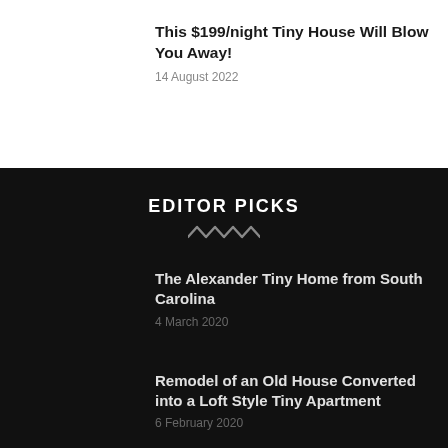This $199/night Tiny House Will Blow You Away!
14 August 2022
EDITOR PICKS
The Alexander Tiny Home from South Carolina
4 March 2020
Remodel of an Old House Converted into a Loft Style Tiny Apartment
6 February 2020